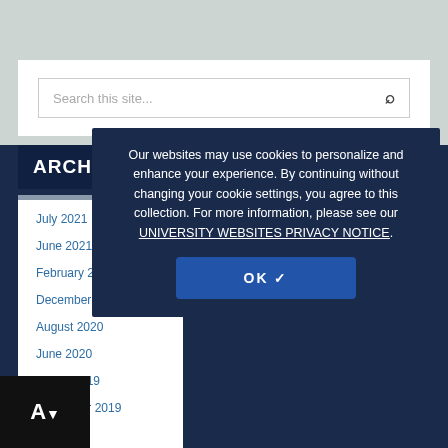Search this site...
ARCHIVES
July 2021
June 2021
February 2021
December 2020
August 2020
June 2020
ember 2019
November 2019
Our websites may use cookies to personalize and enhance your experience. By continuing without changing your cookie settings, you agree to this collection. For more information, please see our UNIVERSITY WEBSITES PRIVACY NOTICE.
OK ✓